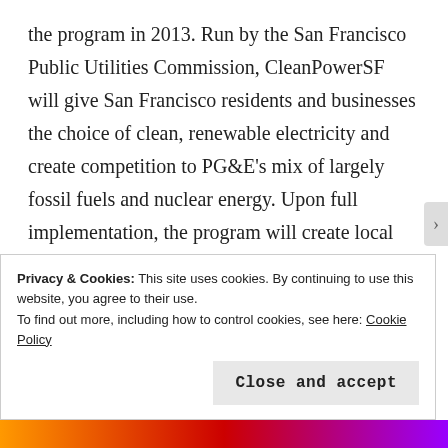the program in 2013. Run by the San Francisco Public Utilities Commission, CleanPowerSF will give San Francisco residents and businesses the choice of clean, renewable electricity and create competition to PG&E's mix of largely fossil fuels and nuclear energy. Upon full implementation, the program will create local green jobs in renewable energy installation and energy efficiency.
Privacy & Cookies: This site uses cookies. By continuing to use this website, you agree to their use.
To find out more, including how to control cookies, see here: Cookie Policy
Close and accept